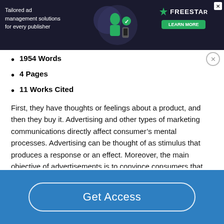[Figure (screenshot): Advertisement banner for Freestar ad management solutions for publishers, dark background with green button 'LEARN MORE']
1954 Words
4 Pages
11 Works Cited
First, they have thoughts or feelings about a product, and then they buy it. Advertising and other types of marketing communications directly affect consumer’s mental processes. Advertising can be thought of as stimulus that produces a response or an effect. Moreover, the main objective of advertisements is to convince consumers that the alternative offered by the product provides the best chance to attain the
Get Access